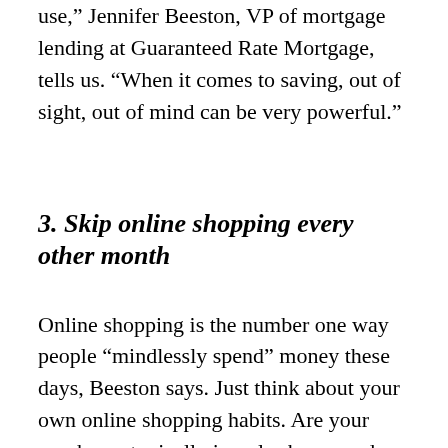savings account at the first bank that's easy to use," Jennifer Beeston, VP of mortgage lending at Guaranteed Rate Mortgage, tells us. "When it comes to saving, out of sight, out of mind can be very powerful."
3. Skip online shopping every other month
Online shopping is the number one way people “mindlessly spend” money these days, Beeston says. Just think about your own online shopping habits. Are your purchases typically impulse buys, or do you mostly buy things you actually need? According to Beston, the nature of online shopping makes it difficult to truly